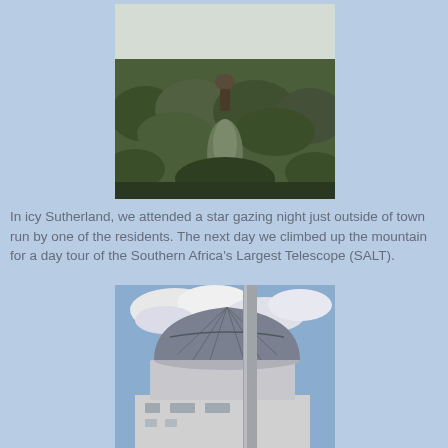[Figure (photo): Outdoor photo of a person standing in dense green bushes/shrubs in a field, taken from a low angle with overcast sky in background]
In icy Sutherland, we attended a star gazing night just outside of town run by one of the residents. The next day we climbed up the mountain for a day tour of the Southern Africa's Largest Telescope (SALT).
[Figure (photo): Photo of the SALT (Southern Africa's Largest Telescope) dome building with a cylindrical pillar/mast in the foreground, partly cloudy sky in background]